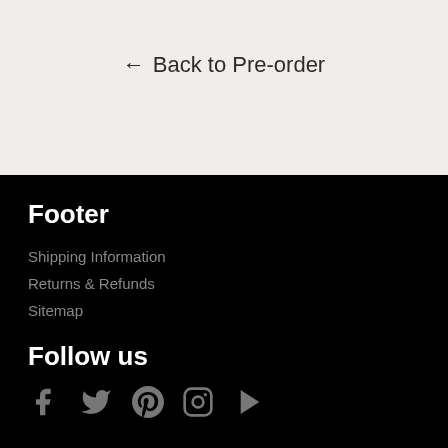← Back to Pre-order
Footer
Shipping Information
Returns & Refunds
Sitemap
Follow us
[Figure (infographic): Social media icons: Facebook, Twitter, Pinterest, Instagram, YouTube]